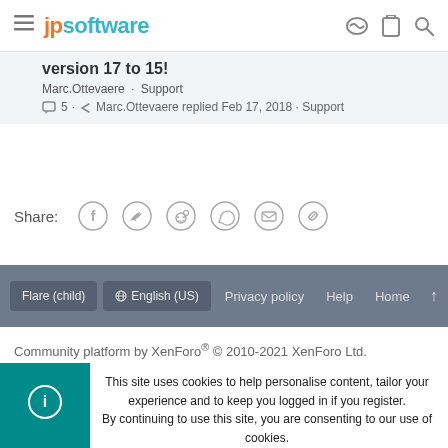jpsoftware
Version 17 to 15!
Marc.Ottevaere · Support
5 · Marc.Ottevaere replied Feb 17, 2018 · Support
Share:
Flare (child)  English (US)  Privacy policy  Help  Home
Community platform by XenForo® © 2010-2021 XenForo Ltd.
This site uses cookies to help personalise content, tailor your experience and to keep you logged in if you register.
By continuing to use this site, you are consenting to our use of cookies.